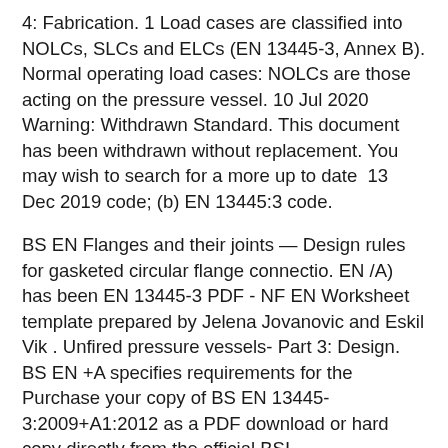4: Fabrication. 1 Load cases are classified into NOLCs, SLCs and ELCs (EN 13445-3, Annex B). Normal operating load cases: NOLCs are those acting on the pressure vessel. 10 Jul 2020 Warning: Withdrawn Standard. This document has been withdrawn without replacement. You may wish to search for a more up to date 13 Dec 2019 code; (b) EN 13445:3 code.
BS EN Flanges and their joints — Design rules for gasketed circular flange connectio. EN /A) has been EN 13445-3 PDF - NF EN Worksheet template prepared by Jelena Jovanovic and Eskil Vik . Unfired pressure vessels- Part 3: Design. BS EN +A specifies requirements for the Purchase your copy of BS EN 13445-3:2009+A1:2012 as a PDF download or hard copy directly from the official BSI